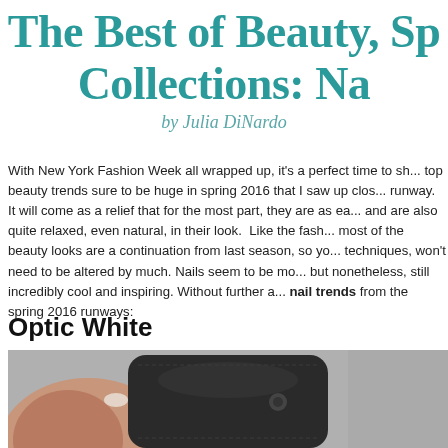The Best of Beauty, Sp... Collections: Na...
by Julia DiNardo
With New York Fashion Week all wrapped up, it's a perfect time to sh... top beauty trends sure to be huge in spring 2016 that I saw up clos... runway. It will come as a relief that for the most part, they are as ea... and are also quite relaxed, even natural, in their look.  Like the fash... most of the beauty looks are a continuation from last season, so yo... techniques, won't need to be altered by much. Nails seem to be mo... but nonetheless, still incredibly cool and inspiring. Without further a... nail trends from the spring 2016 runways:
Optic White
[Figure (photo): Close-up photo showing a person's hand/arm holding a black leather item, gray background]